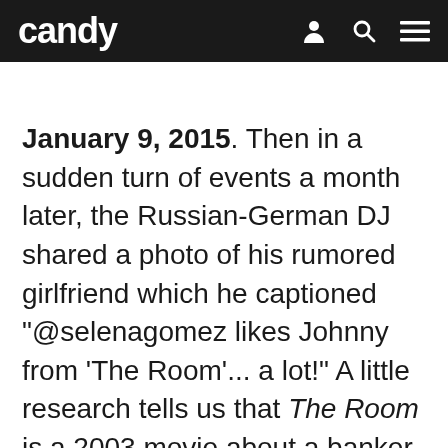candy
January 9, 2015. Then in a sudden turn of events a month later, the Russian-German DJ shared a photo of his rumored girlfriend which he captioned "@selenagomez likes Johnny from 'The Room'... a lot!" A little research tells us that The Room is a 2003 movie about a banker (Johnny) and his fiancee who seduces his best friend. Is this their favorite movie? Is this something they watc                                           e of